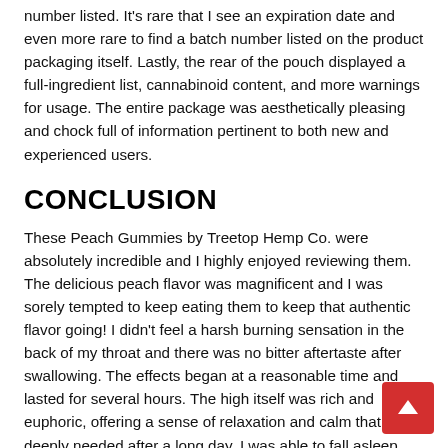number listed. It's rare that I see an expiration date and even more rare to find a batch number listed on the product packaging itself. Lastly, the rear of the pouch displayed a full-ingredient list, cannabinoid content, and more warnings for usage. The entire package was aesthetically pleasing and chock full of information pertinent to both new and experienced users.
CONCLUSION
These Peach Gummies by Treetop Hemp Co. were absolutely incredible and I highly enjoyed reviewing them. The delicious peach flavor was magnificent and I was sorely tempted to keep eating them to keep that authentic flavor going! I didn't feel a harsh burning sensation in the back of my throat and there was no bitter aftertaste after swallowing. The effects began at a reasonable time and lasted for several hours. The high itself was rich and euphoric, offering a sense of relaxation and calm that was deeply needed after a long day. I was able to fall asleep quickly and didn't experience any linger effects in the morning. The packaging was lovely and simple to open and reseal, and I loved